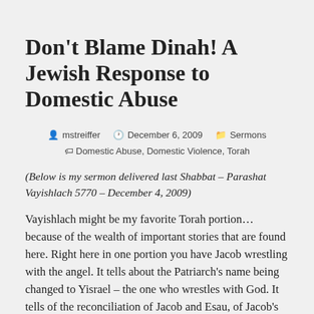Don't Blame Dinah! A Jewish Response to Domestic Abuse
mstreiffer  December 6, 2009  Sermons  Domestic Abuse, Domestic Violence, Torah
(Below is my sermon delivered last Shabbat – Parashat Vayishlach 5770 – December 4, 2009)
Vayishlach might be my favorite Torah portion… because of the wealth of important stories that are found here. Right here in one portion you have Jacob wrestling with the angel. It tells about the Patriarch's name being changed to Yisrael – the one who wrestles with God. It tells of the reconciliation of Jacob and Esau, of Jacob's return to the land of Israel, God's